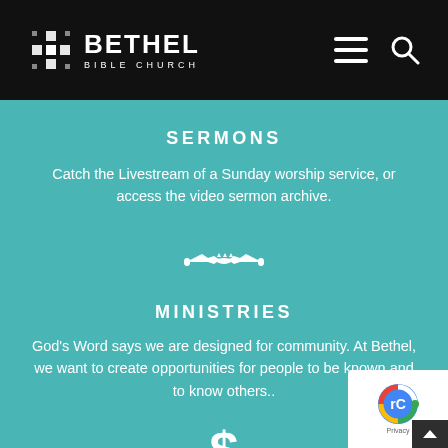Bethel Bible Church
SERMONS
Catch the Livestream of a Sunday worship service, or access the video sermon archive.
[Figure (illustration): Handshake icon in white]
MINISTRIES
God's Word says we are designed for community. At Bethel, we want to create opportunities for people to be known and to know others..
[Figure (illustration): Dollar sign icon in white]
[Figure (illustration): reCAPTCHA badge overlay in bottom right corner]